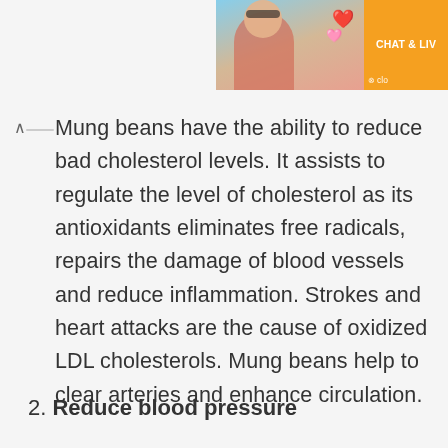[Figure (photo): Advertisement banner in top right: photo of a woman at the beach with heart emoji, orange section with 'CHAT & LIV' text]
Mung beans have the ability to reduce bad cholesterol levels. It assists to regulate the level of cholesterol as its antioxidants eliminates free radicals, repairs the damage of blood vessels and reduce inflammation. Strokes and heart attacks are the cause of oxidized LDL cholesterols. Mung beans help to clear arteries and enhance circulation.
2. Reduce blood pressure